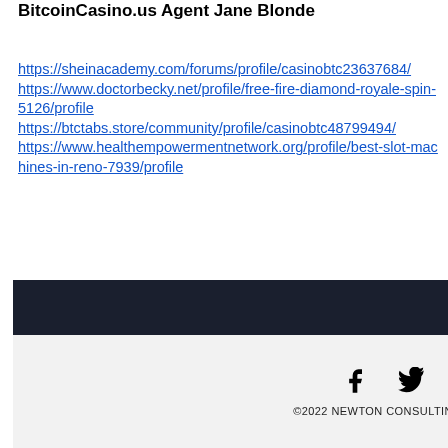BitcoinCasino.us Agent Jane Blonde
https://sheinacademy.com/forums/profile/casinobtc23637684/
https://www.doctorbecky.net/profile/free-fire-diamond-royale-spin-5126/profile
https://btctabs.store/community/profile/casinobtc48799494/
https://www.healthempowermentnetwork.org/profile/best-slot-machines-in-reno-7939/profile
©2022 NEWTON CONSULTING PARTNERS